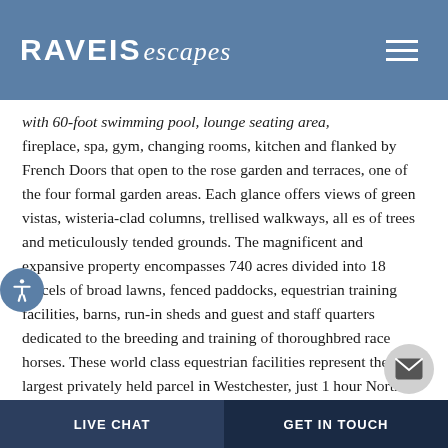RAVEIS escapes
with 60-foot swimming pool, lounge seating area, fireplace, spa, gym, changing rooms, kitchen and flanked by French Doors that open to the rose garden and terraces, one of the four formal garden areas. Each glance offers views of green vistas, wisteria-clad columns, trellised walkways, all es of trees and meticulously tended grounds. The magnificent and expansive property encompasses 740 acres divided into 18 parcels of broad lawns, fenced paddocks, equestrian training facilities, barns, run-in sheds and guest and staff quarters dedicated to the breeding and training of thoroughbred race horses. These world class equestrian facilities represent the largest privately held parcel in Westchester, just 1 hour North of New York City offering easy access to/from anywhere in the world. An additional unique 36,000 sf building resides on the north westerly portion of the property. Formerly the Granite Springs Bottling Co. a leased at one time by a major bank with offices resi
LIVE CHAT   GET IN TOUCH